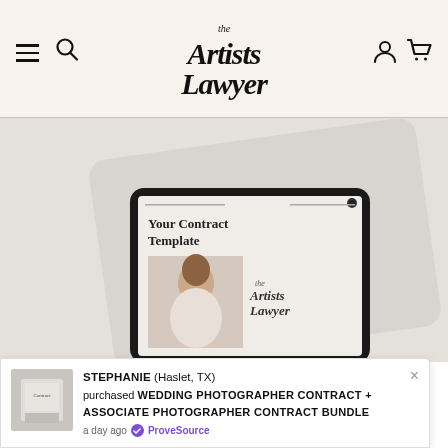The Artists Lawyer — navigation header with hamburger menu, search, account, and cart icons
[Figure (photo): Product photo showing an iPad tablet displaying a contract template document with 'Your Contract Template' text and 'The Artists Lawyer' branding, against a light grey/beige background with another device behind it]
STEPHANIE (Haslet, TX) purchased WEDDING PHOTOGRAPHER CONTRACT + ASSOCIATE PHOTOGRAPHER CONTRACT BUNDLE — a day ago — ProveSource